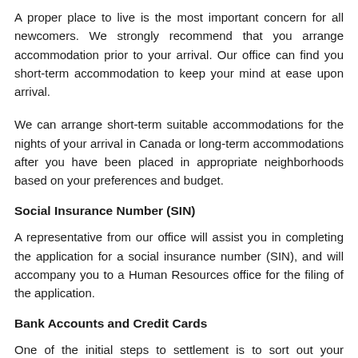A proper place to live is the most important concern for all newcomers. We strongly recommend that you arrange accommodation prior to your arrival. Our office can find you short-term accommodation to keep your mind at ease upon arrival.
We can arrange short-term suitable accommodations for the nights of your arrival in Canada or long-term accommodations after you have been placed in appropriate neighborhoods based on your preferences and budget.
Social Insurance Number (SIN)
A representative from our office will assist you in completing the application for a social insurance number (SIN), and will accompany you to a Human Resources office for the filing of the application.
Bank Accounts and Credit Cards
One of the initial steps to settlement is to sort out your banking needs. As part of our services, we help you to open your first bank account in Canada and assist you in building your credit history.